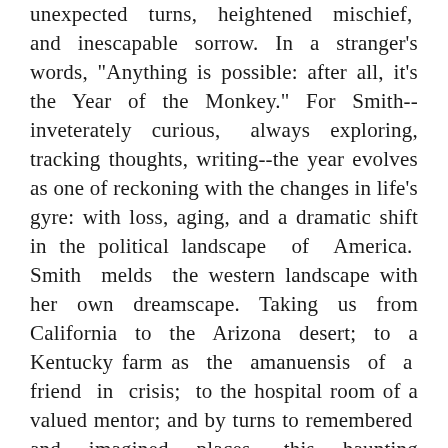unexpected turns, heightened mischief, and inescapable sorrow. In a stranger's words, "Anything is possible: after all, it's the Year of the Monkey." For Smith--inveterately curious, always exploring, tracking thoughts, writing--the year evolves as one of reckoning with the changes in life's gyre: with loss, aging, and a dramatic shift in the political landscape of America. Smith melds the western landscape with her own dreamscape. Taking us from California to the Arizona desert; to a Kentucky farm as the amanuensis of a friend in crisis; to the hospital room of a valued mentor; and by turns to remembered and imagined places, this haunting memoir blends fact and fiction with poetic mastery. The unexpected happens; grief and disillusionment set in. But as Smith heads toward a new decade in her own life, she offers this balm to the reader: her wisdom, wit, gimlet eye, and above all, a rugged hope for a better world. Riveting, elegant, often humorous, illustrated by Smith's signature Polaroids, Year of the Monkey is a moving and visionary work.